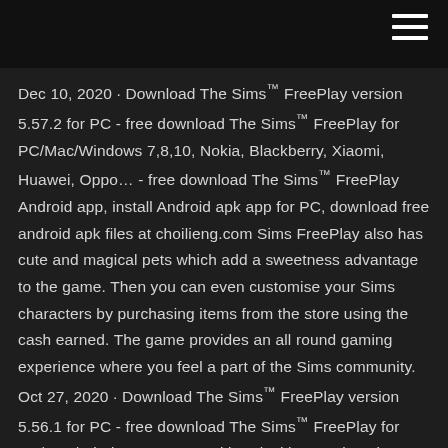Dec 10, 2020 · Download The Sims™ FreePlay version 5.57.2 for PC - free download The Sims™ FreePlay for PC/Mac/Windows 7,8,10, Nokia, Blackberry, Xiaomi, Huawei, Oppo… - free download The Sims™ FreePlay Android app, install Android apk app for PC, download free android apk files at choilieng.com Sims FreePlay also has cute and magical pets which add a sweetness advantage to the game. Then you can even customise your Sims characters by purchasing items from the store using the cash earned. The game provides an all round gaming experience where you feel a part of the Sims community. Oct 27, 2020 · Download The Sims™ FreePlay version 5.56.1 for PC - free download The Sims™ FreePlay for PC/Mac/Windows 7,8,10, Nokia, Blackberry, Xiaomi, Huawei, Oppo… - free download